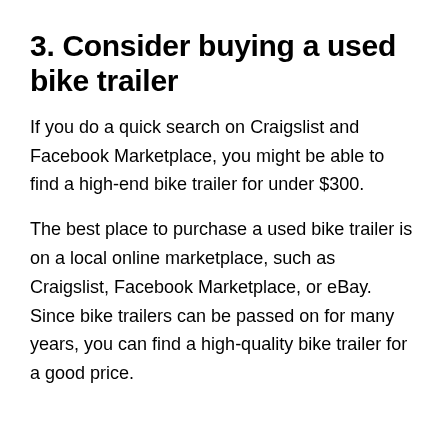3. Consider buying a used bike trailer
If you do a quick search on Craigslist and Facebook Marketplace, you might be able to find a high-end bike trailer for under $300.
The best place to purchase a used bike trailer is on a local online marketplace, such as Craigslist, Facebook Marketplace, or eBay. Since bike trailers can be passed on for many years, you can find a high-quality bike trailer for a good price.